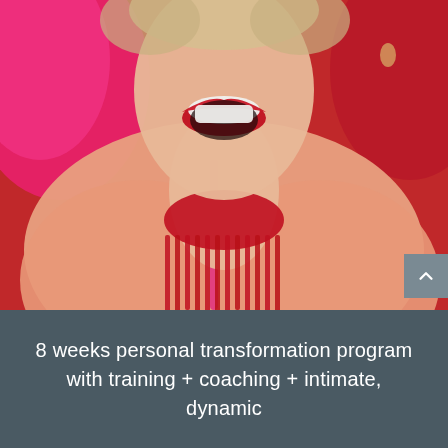[Figure (photo): Close-up photo of a laughing woman with short blonde hair wearing a peach/salmon windbreaker jacket open at the front, a vibrant red fringed scarf/necklace, and pink gloves raised near her face. Red lipstick, wide open smile showing teeth. Background is red.]
8 weeks personal transformation program with training + coaching + intimate, dynamic